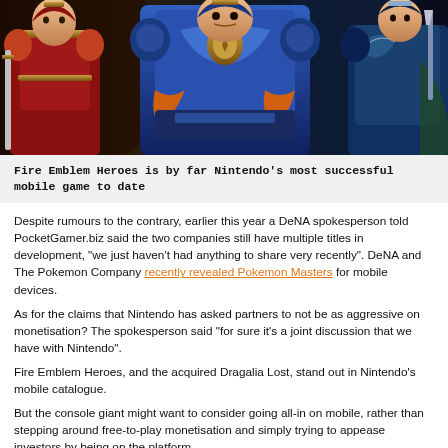[Figure (illustration): A banner illustration showing animated fantasy warrior characters in blue, red, and gold armor from Fire Emblem Heroes game.]
Fire Emblem Heroes is by far Nintendo's most successful mobile game to date
Despite rumours to the contrary, earlier this year a DeNA spokesperson told PocketGamer.biz said the two companies still have multiple titles in development, "we just haven't had anything to share very recently". DeNA and The Pokemon Company recently revealed Pokemon Masters for mobile devices.
As for the claims that Nintendo has asked partners to not be as aggressive on monetisation? The spokesperson said "for sure it's a joint discussion that we have with Nintendo".
Fire Emblem Heroes, and the acquired Dragalia Lost, stand out in Nintendo's mobile catalogue.
But the console giant might want to consider going all-in on mobile, rather than stepping around free-to-play monetisation and simply trying to appease investors by being on the platform.
By being more confident about mobile F2P game design, it might find it can make more, better games.